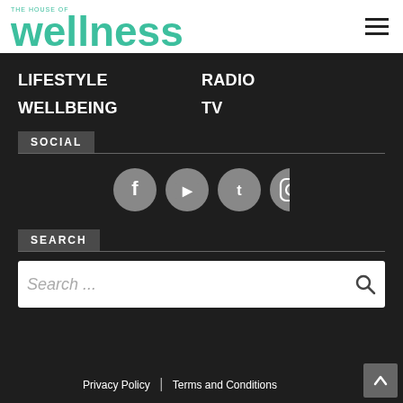[Figure (logo): The House of Wellness logo in teal/green color]
LIFESTYLE
WELLBEING
RADIO
TV
SOCIAL
[Figure (infographic): Four social media icons: Facebook, YouTube, Twitter, Instagram]
SEARCH
Search ...
Privacy Policy  |  Terms and Conditions